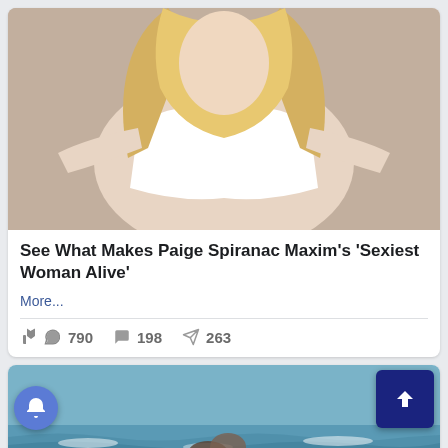[Figure (photo): Photo of a blonde woman in a white tied crop top, arms outstretched]
See What Makes Paige Spiranac Maxim's 'Sexiest Woman Alive'
More...
790  198  263
[Figure (photo): Partial photo of two people kissing on a beach with ocean waves in background]